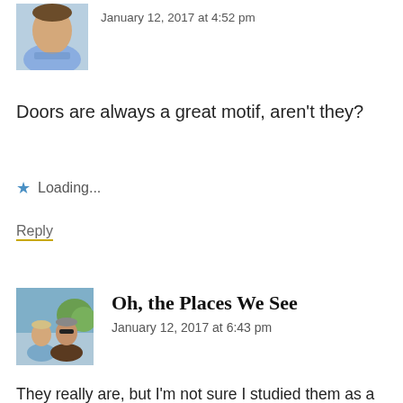[Figure (photo): Avatar photo of a man in a blue t-shirt, partially cropped at top]
January 12, 2017 at 4:52 pm
Doors are always a great motif, aren't they?
Loading...
Reply
[Figure (photo): Avatar photo of a woman and man outdoors, smiling]
Oh, the Places We See
January 12, 2017 at 6:43 pm
They really are, but I'm not sure I studied them as a commentary before. Now that I'm looking more closely, there's a class distinction evidenced by what kind of doors we own, I suppose. Come to my